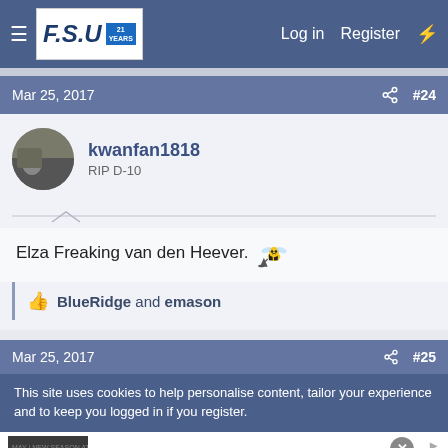FSU forum header — Log in  Register
Mar 25, 2017  #24
kwanfan1818
RIP D-10
Elza Freaking van den Heever. 🐝
👍 BlueRidge and emason
Mar 25, 2017  #25
This site uses cookies to help personalise content, tailor your experience and to keep you logged in if you register.
[Figure (other): BELK advertisement: Denim all day. www.belk.com with fashion photo]
BELK Denim all day. www.belk.com